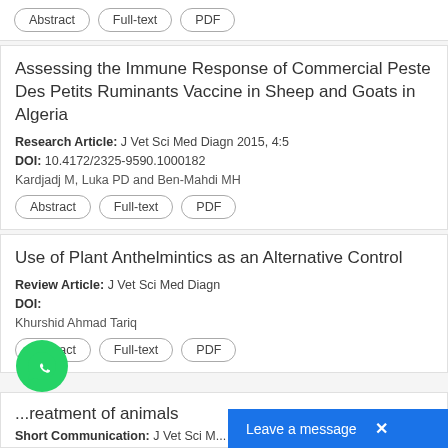Abstract | Full-text | PDF (top bar buttons)
Assessing the Immune Response of Commercial Peste Des Petits Ruminants Vaccine in Sheep and Goats in Algeria
Research Article: J Vet Sci Med Diagn 2015, 4:5
DOI: 10.4172/2325-9590.1000182
Kardjadj M, Luka PD and Ben-Mahdi MH
Abstract | Full-text | PDF
Use of Plant Anthelmintics as an Alternative Control
Review Article: J Vet Sci Med Diagn
DOI:
Khurshid Ahmad Tariq
Abstract | Full-text | PDF
...reatment of animals
Short Communication: J Vet Sci M...